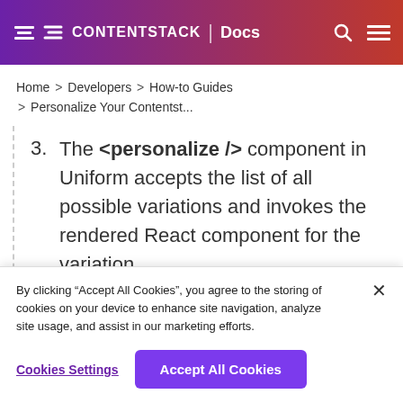CONTENTSTACK | Docs
Home > Developers > How-to Guides > Personalize Your Contentst...
3. The <personalize /> component in Uniform accepts the list of all possible variations and invokes the rendered React component for the variation
By clicking “Accept All Cookies”, you agree to the storing of cookies on your device to enhance site navigation, analyze site usage, and assist in our marketing efforts.
Cookies Settings | Accept All Cookies